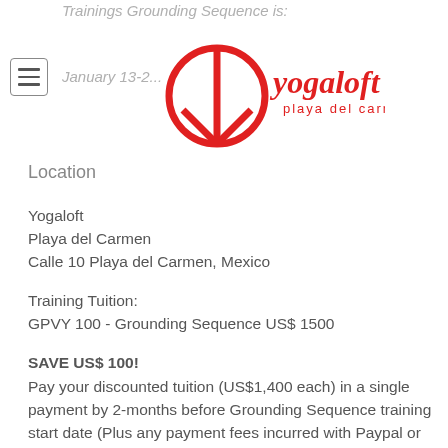Trainings Grounding Sequence is:
January 13-2...
[Figure (logo): Yogaloft playa del carmen logo — red peace sign circle with 'yogaloft' cursive text and 'playa del carmen' text below]
Location
Yogaloft
Playa del Carmen
Calle 10 Playa del Carmen, Mexico
Training Tuition:
GPVY 100 - Grounding Sequence US$ 1500
SAVE US$ 100!
Pay your discounted tuition (US$1,400 each) in a single payment by 2-months before Grounding Sequence training start date (Plus any payment fees incurred with Paypal or bank transfers)
NOTE: You do not need to take both trainings.
BOOK NOW your GPVY 100 Certification Teacher